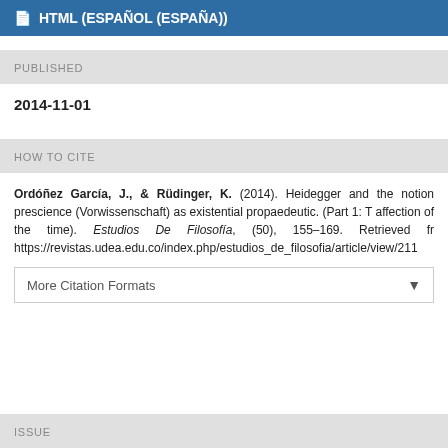HTML (ESPAÑOL (ESPAÑA))
PUBLISHED
2014-11-01
HOW TO CITE
Ordóñez García, J., & Rüdinger, K. (2014). Heidegger and the notion prescience (Vorwissenschaft) as existential propaedeutic. (Part 1: T affection of the time). Estudios De Filosofía, (50), 155–169. Retrieved fr https://revistas.udea.edu.co/index.php/estudios_de_filosofia/article/view/211
More Citation Formats
ISSUE